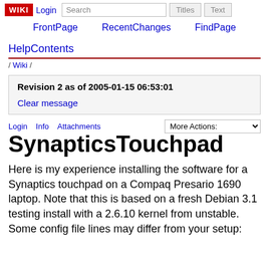WIKI | Login | Search | Titles | Text
FrontPage | RecentChanges | FindPage
HelpContents
/ Wiki /
Revision 2 as of 2005-01-15 06:53:01
Clear message
Login  Info  Attachments
SynapticsTouchpad
Here is my experience installing the software for a Synaptics touchpad on a Compaq Presario 1690 laptop. Note that this is based on a fresh Debian 3.1 testing install with a 2.6.10 kernel from unstable. Some config file lines may differ from your setup: